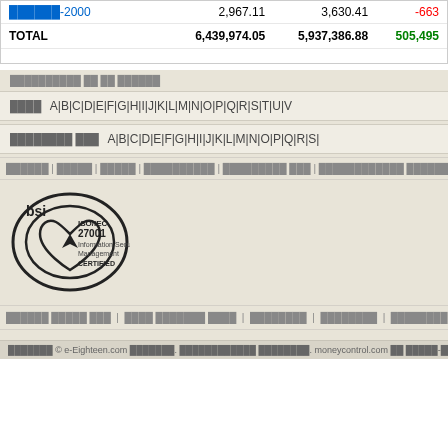|  |  |  |  |
| --- | --- | --- | --- |
| ██████-2000 | 2,967.11 | 3,630.41 | -663 |
| TOTAL | 6,439,974.05 | 5,937,386.88 | 505,495 |
██████████ ██ ██ ██████
████  A|B|C|D|E|F|G|H|I|J|K|L|M|N|O|P|Q|R|S|T|U|V
████████ ███  A|B|C|D|E|F|G|H|I|J|K|L|M|N|O|P|Q|R|S|
██████ | █████ | █████ | ██████████ | █████████ ███ | ████████████ ████████████ ██████ | ███ | ████████
[Figure (logo): BSI ISO/IEC 27001 Information Security Management CERTIFIED logo]
██████ █████ ███ | ████ ███████ ████ | ████████ | ████████ | ████████ ███ | ██████ ██ ██████ |
███████ © e-Eighteen.com ███████. ████████████ ████████. moneycontrol.com ██ █████-███████ ██ ███